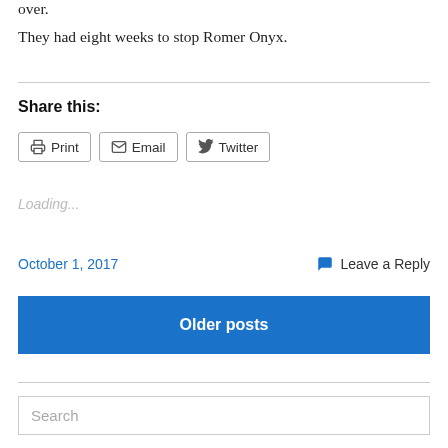over.
They had eight weeks to stop Romer Onyx.
Share this:
Print  Email  Twitter
Loading...
October 1, 2017
Leave a Reply
Older posts
Search